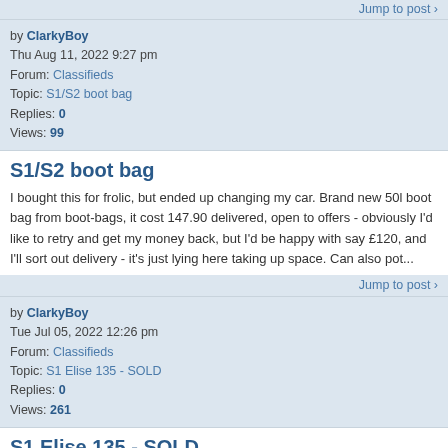Jump to post >
by ClarkyBoy
Thu Aug 11, 2022 9:27 pm
Forum: Classifieds
Topic: S1/S2 boot bag
Replies: 0
Views: 99
S1/S2 boot bag
I bought this for frolic, but ended up changing my car. Brand new 50l boot bag from boot-bags, it cost 147.90 delivered, open to offers - obviously I'd like to retry and get my money back, but I'd be happy with say £120, and I'll sort out delivery - it's just lying here taking up space. Can also pot...
Jump to post >
by ClarkyBoy
Tue Jul 05, 2022 12:26 pm
Forum: Classifieds
Topic: S1 Elise 135 - SOLD
Replies: 0
Views: 261
S1 Elise 135 - SOLD
Selling my 135, chrome orange. (actually this time) I'm looking for £18500 this week - otherwise Jon Seal gets it I've put a deposit down on a new car - drop me a message if interested. It's had loads of work done, it's a great car, has epic seats, new tyres, loads of other new bits It's been an abe...
Jump to post >